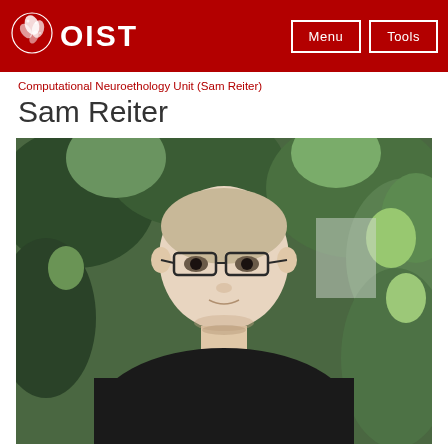OIST  Menu  Tools
Computational Neuroethology Unit (Sam Reiter)
Sam Reiter
[Figure (photo): Portrait photo of Sam Reiter, a man with short hair and glasses wearing a black t-shirt, standing in front of green foliage outdoors.]